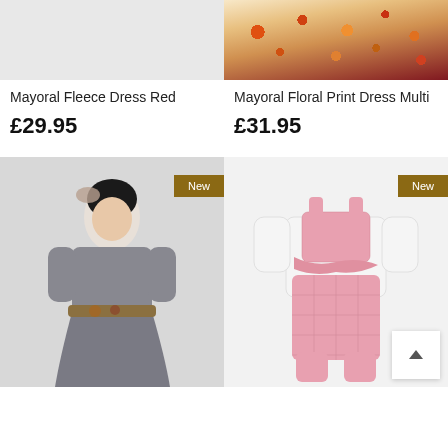[Figure (photo): Top portion of product image for Mayoral Fleece Dress Red - light gray background, partially visible]
[Figure (photo): Top portion of Mayoral Floral Print Dress Multi - floral print dress with dark red tights on child]
Mayoral Fleece Dress Red
£29.95
Mayoral Floral Print Dress Multi
£31.95
[Figure (photo): Child model wearing gray Mayoral dress with floral belt and hair accessory, New badge]
[Figure (photo): Pink checkered dungaree set with white long sleeve top, New badge, scroll-to-top button visible]